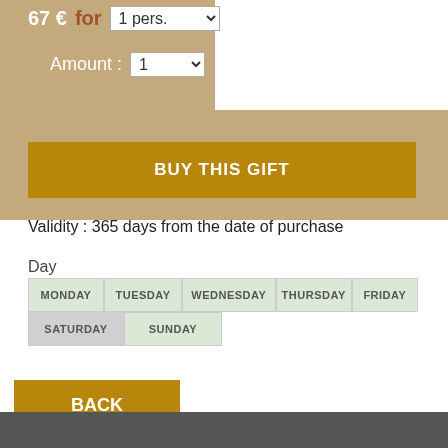67 € for 1 pers. ▾
Amount : 1 ▾
BUY THIS GIFT
Validity : 365 days from the date of purchase
Day
| MONDAY | TUESDAY | WEDNESDAY | THURSDAY | FRIDAY |
| --- | --- | --- | --- | --- |
| SATURDAY | SUNDAY |  |  |  |
BACK